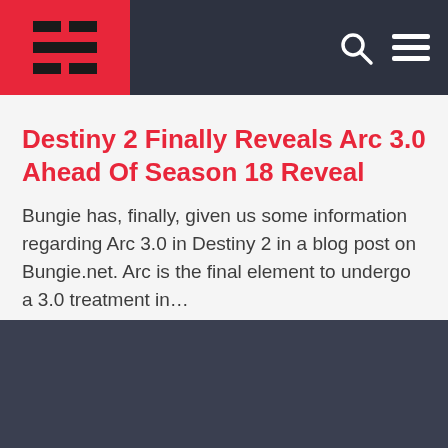[Logo: stylized icon on red background] [Search icon] [Menu icon]
Destiny 2 Finally Reveals Arc 3.0 Ahead Of Season 18 Reveal
Bungie has, finally, given us some information regarding Arc 3.0 in Destiny 2 in a blog post on Bungie.net. Arc is the final element to undergo a 3.0 treatment in…